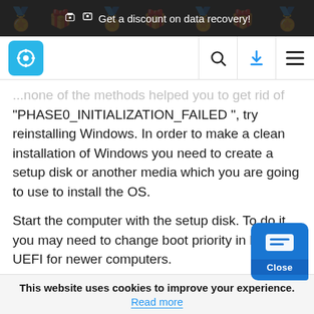🎁 Get a discount on data recovery!
[Figure (logo): Website navigation bar with gear/settings logo icon in blue square, search icon, download icon, and hamburger menu icon]
...none of the methods helped you to get rid of "PHASE0_INITIALIZATION_FAILED ", try reinstalling Windows. In order to make a clean installation of Windows you need to create a setup disk or another media which you are going to use to install the OS.
Start the computer with the setup disk. To do it you may need to change boot priority in BIOS or UEFI for newer computers.
Following the installer menu stages, specify th... where you want your Windows installed. You w...
This website uses cookies to improve your experience. Read more